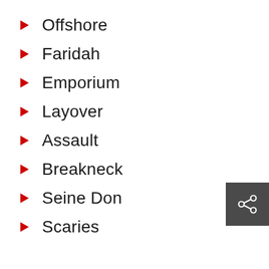Offshore
Faridah
Emporium
Layover
Assault
Breakneck
Seine Don
Scaries